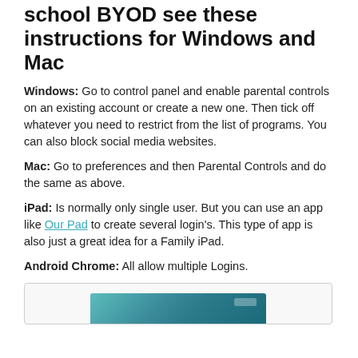school BYOD see these instructions for Windows and Mac
Windows: Go to control panel and enable parental controls on an existing account or create a new one. Then tick off whatever you need to restrict from the list of programs. You can also block social media websites.
Mac: Go to preferences and then Parental Controls and do the same as above.
iPad: Is normally only single user. But you can use an app like Our Pad to create several login's. This type of app is also just a great idea for a Family iPad.
Android Chrome: All allow multiple Logins.
[Figure (screenshot): Screenshot of a tablet device showing a teal/blue-green interface]